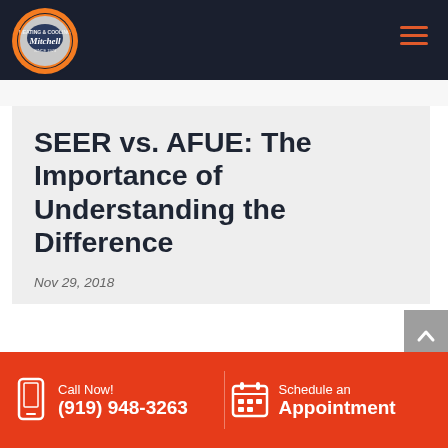Mitchell Heating & Cooling — Navigation header with logo and hamburger menu
SEER vs. AFUE: The Importance of Understanding the Difference
Nov 29, 2018
Call Now! (919) 948-3263 | Schedule an Appointment